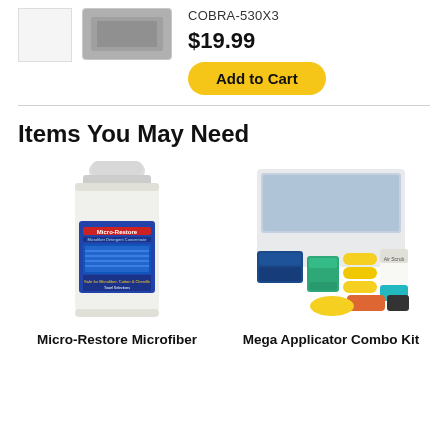COBRA-530X3
$19.99
Add to Cart
Items You May Need
[Figure (photo): Bottle of Micro-Restore Microfiber Detergent Concentrate product]
[Figure (photo): Mega Applicator Combo Kit with various sponges, pads, and cloths]
Micro-Restore Microfiber
Mega Applicator Combo Kit